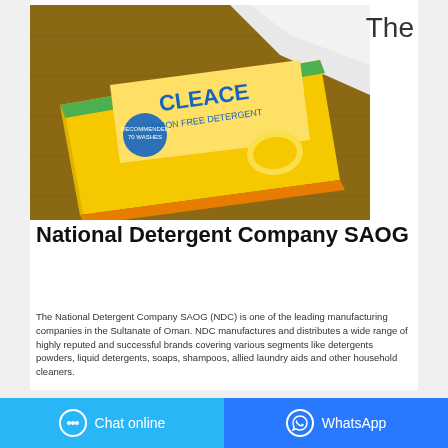[Figure (photo): A yellow package of Cleace lemon-scented detergent powder lying on a wooden surface with white tissue/cloth visible in the background.]
The
National Detergent Company SAOG
The National Detergent Company SAOG (NDC) is one of the leading manufacturing companies in the Sultanate of Oman. NDC manufactures and distributes a wide range of highly reputed and successful brands covering various segments like detergents powders, liquid detergents, soaps, shampoos, allied laundry aids and other household cleaners.
Chat online | WhatsApp